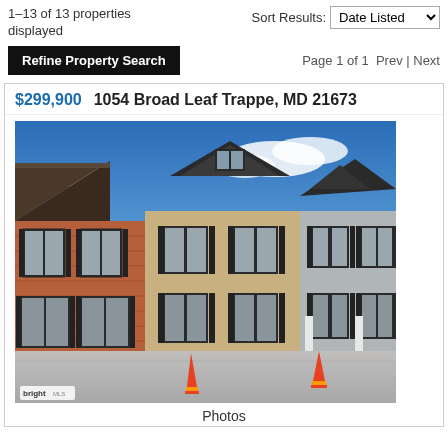1–13 of 13 properties displayed
Sort Results: Date Listed
Refine Property Search
Page 1 of 1  Prev | Next
$299,900  1054 Broad Leaf Trappe, MD 21673
[Figure (photo): Exterior photo of townhouse row with brick and tan siding, black shutters, dormers, blue sky, orange traffic cones in foreground, bright watermark in lower left]
Photos